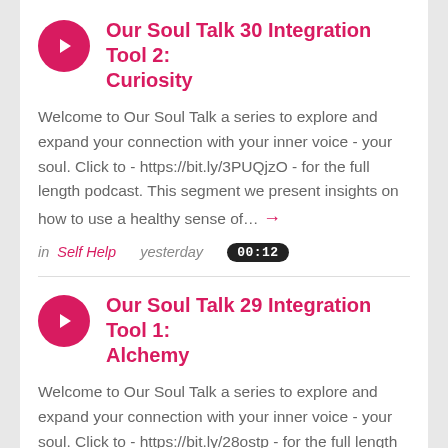Our Soul Talk 30 Integration Tool 2: Curiosity
Welcome to Our Soul Talk a series to explore and expand your connection with your inner voice - your soul. Click to - https://bit.ly/3PUQjzO - for the full length podcast. This segment we present insights on how to use a healthy sense of… →
in Self Help   yesterday   00:12
Our Soul Talk 29 Integration Tool 1: Alchemy
Welcome to Our Soul Talk a series to explore and expand your connection with your inner voice - your soul. Click to - https://bit.ly/28ostp - for the full length podcast. As we talk about engaging the art of alchemy to help you